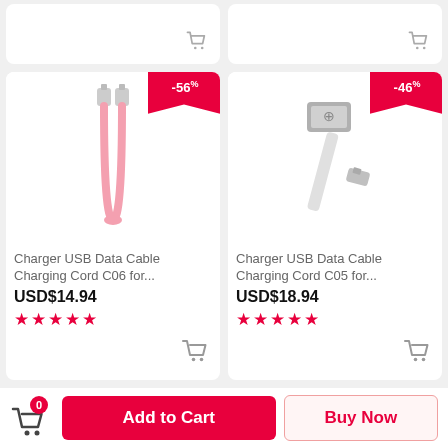[Figure (screenshot): Top strip showing two partial product cards with shopping cart icons at bottom right]
[Figure (photo): Pink USB charging cable (short, U-shaped) with metal connectors on white background. Discount badge: -56%]
Charger USB Data Cable Charging Cord C06 for...
USD$14.94
★★★★★
[Figure (photo): Silver/white USB to Lightning flat cable with metal USB-A connector. Discount badge: -46%]
Charger USB Data Cable Charging Cord C05 for...
USD$18.94
★★★★★
0
Add to Cart
Buy Now